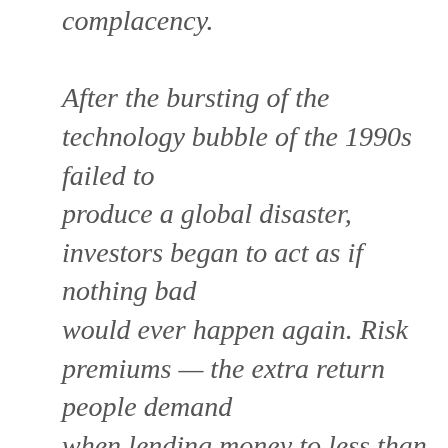complacency. After the bursting of the technology bubble of the 1990s failed to produce a global disaster, investors began to act as if nothing bad would ever happen again. Risk premiums — the extra return people demand when lending money to less than totally reliable borrowers —